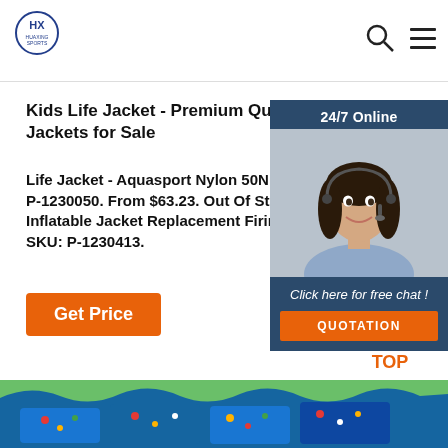HUAXING SPORTS
Kids Life Jacket - Premium Quality Kids Life Jackets for Sale
Life Jacket - Aquasport Nylon 50N (P... P-1230050. From $63.23. Out Of Stock... Inflatable Jacket Replacement Firing M... SKU: P-1230413.
Get Price
[Figure (photo): 24/7 online chat support widget with photo of smiling woman with headset, dark blue background, 'Click here for free chat!' text and orange QUOTATION button]
[Figure (illustration): Orange dotted triangle/arrow pointing up with TOP text below it, back-to-top button]
[Figure (photo): Bottom strip showing colorful kids life jackets in blue with green wavy edge visible at top]